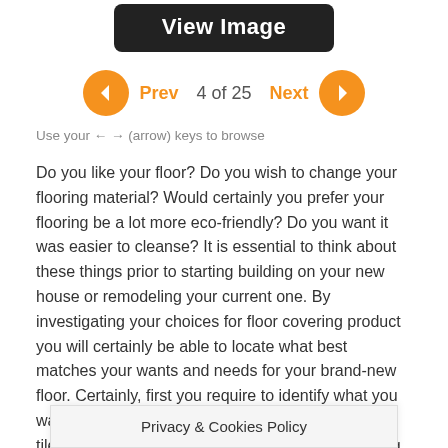[Figure (other): Black rounded rectangle button with white bold text 'View Image']
[Figure (infographic): Navigation row with orange left arrow circle, orange 'Prev' label, '4 of 25' page indicator, orange 'Next' label, orange right arrow circle]
Use your ← → (arrow) keys to browse
Do you like your floor? Do you wish to change your flooring material? Would certainly you prefer your flooring be a lot more eco-friendly? Do you want it was easier to cleanse? It is essential to think about these things prior to starting building on your new house or remodeling your current one. By investigating your choices for floor covering product you will certainly be able to locate what best matches your wants and needs for your brand-new floor. Certainly, first you require to identify what you want and needs. You can choose one type of floor tile when you want floor covering that is long lasting and stunning. You can also mix and match various materials too. With each other with your creative imagination and imagination, you can create a flooring style that's special to your residence as house a
Privacy & Cookies Policy